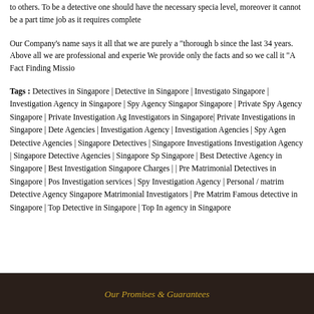to others. To be a detective one should have the necessary special level, moreover it cannot be a part time job as it requires complete
Our Company's name says it all that we are purely a "thorough b since the last 34 years. Above all we are professional and experie We provide only the facts and so we call it "A Fact Finding Missio
Tags : Detectives in Singapore | Detective in Singapore | Investigato Singapore | Investigation Agency in Singapore | Spy Agency Singapor Singapore | Private Spy Agency Singapore | Private Investigation Ag Investigators in Singapore| Private Investigations in Singapore | Dete Agencies | Investigation Agency | Investigation Agencies | Spy Agen Detective Agencies | Singapore Detectives | Singapore Investigations Investigation Agency | Singapore Detective Agencies | Singapore Sp Singapore | Best Detective Agency in Singapore | Best Investigation Singapore Charges | | Pre Matrimonial Detectives in Singapore | Pos Investigation services | Spy Investigation Agency | Personal / matrim Detective Agency Singapore Matrimonial Investigators | Pre Matrim Famous detective in Singapore | Top Detective in Singapore | Top In agency in Singapore
Our Promises & Guarantees